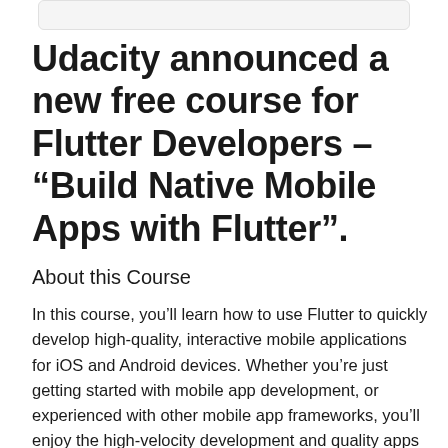Udacity announced a new free course for Flutter Developers – “Build Native Mobile Apps with Flutter”.
About this Course
In this course, you’ll learn how to use Flutter to quickly develop high-quality, interactive mobile applications for iOS and Android devices. Whether you’re just getting started with mobile app development, or experienced with other mobile app frameworks, you’ll enjoy the high-velocity development and quality apps that Flutter enables.
Work with Google instructors step-by-step to build an app in one codebase that compiles down to native ARM code and has high performance on both iOS and Android. Learn how to develop fast by making use of Flutter’s reactive framework, stateful Hot Reload, and integrated tooling. Customize your app with rich, reusable widgets, built-in navigation, and